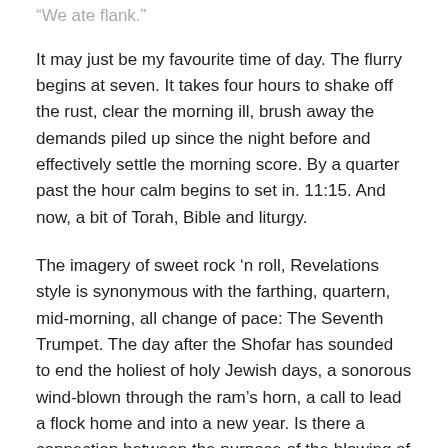“We ate flank.”
It may just be my favourite time of day. The flurry begins at seven. It takes four hours to shake off the rust, clear the morning ill, brush away the demands piled up since the night before and effectively settle the morning score. By a quarter past the hour calm begins to set in. 11:15. And now, a bit of Torah, Bible and liturgy.
The imagery of sweet rock ‘n roll, Revelations style is synonymous with the farthing, quartern, mid-morning, all change of pace: The Seventh Trumpet. The day after the Shofar has sounded to end the holiest of holy Jewish days, a sonorous wind-blown through the ram’s horn, a call to lead a flock home and into a new year. Is there a connection between the purpose of the blowing of the Shofar on Rosh Hashanah (and Yom Kippur) and the end